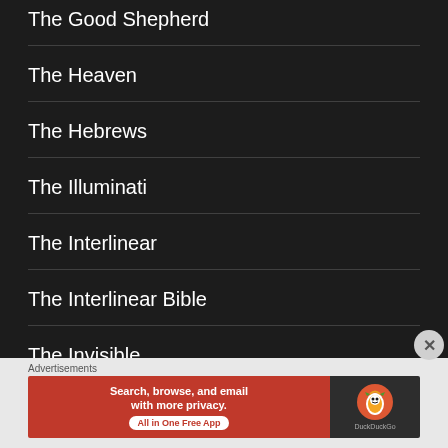The Good Shepherd
The Heaven
The Hebrews
The Illuminati
The Interlinear
The Interlinear Bible
The Invisible
Advertisements
[Figure (other): DuckDuckGo advertisement banner: orange left panel with text 'Search, browse, and email with more privacy. All in One Free App', dark right panel with DuckDuckGo duck logo and brand name.]